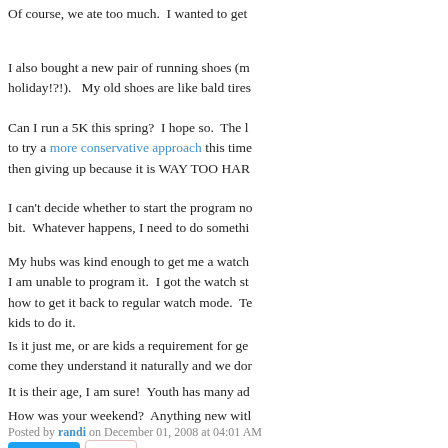Of course, we ate too much.  I wanted to get
I also bought a new pair of running shoes (m holiday!?!).   My old shoes are like bald tires
Can I run a 5K this spring?  I hope so.  The l to try a more conservative approach this time then giving up because it is WAY TOO HAR
I can't decide whether to start the program no bit.  Whatever happens, I need to do somethi
My hubs was kind enough to get me a watch I am unable to program it.  I got the watch st how to get it back to regular watch mode.  Te kids to do it.
Is it just me, or are kids a requirement for ge come they understand it naturally and we dor
It is their age, I am sure!  Youth has many ad
How was your weekend?  Anything new witl
Posted by randi on December 01, 2008 at 04:01 AM